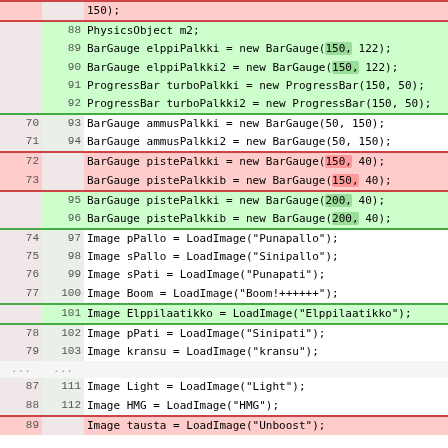| old | new | code |
| --- | --- | --- |
|  |  | 150); |
|  | 88 |     PhysicsObject m2; |
|  | 89 |     BarGauge elppiPalkki = new BarGauge(150, 122); |
|  | 90 |     BarGauge elppiPalkki2 = new BarGauge(150, 122); |
|  | 91 |     ProgressBar turboPalkki = new ProgressBar(150, 50); |
|  | 92 |     ProgressBar turboPalkki2 = new ProgressBar(150, 50); |
| 70 | 93 |     BarGauge ammusPalkki = new BarGauge(50, 150); |
| 71 | 94 |     BarGauge ammusPalkki2 = new BarGauge(50, 150); |
| 72 |  |     BarGauge pistePalkki = new BarGauge(150, 40); |
| 73 |  |     BarGauge pistePalkkib = new BarGauge(150, 40); |
|  | 95 |     BarGauge pistePalkki = new BarGauge(200, 40); |
|  | 96 |     BarGauge pistePalkkib = new BarGauge(200, 40); |
| 74 | 97 |     Image pPallo = LoadImage("Punapallo"); |
| 75 | 98 |     Image sPallo = LoadImage("Sinipallo"); |
| 76 | 99 |     Image sPati = LoadImage("Punapati"); |
| 77 | 100 |     Image Boom = LoadImage("Boom!++++++"); |
|  | 101 |     Image Elppilaatikko = LoadImage("Elppilaatikko"); |
| 78 | 102 |     Image pPati = LoadImage("Sinipati"); |
| 79 | 103 |     Image kransu = LoadImage("kransu"); |
| ... | ... |  |
| 87 | 111 |     Image Light = LoadImage("Light"); |
| 88 | 112 |     Image HMG = LoadImage("HMG"); |
| 89 |  |     Image tausta = LoadImage("Unboost"); |